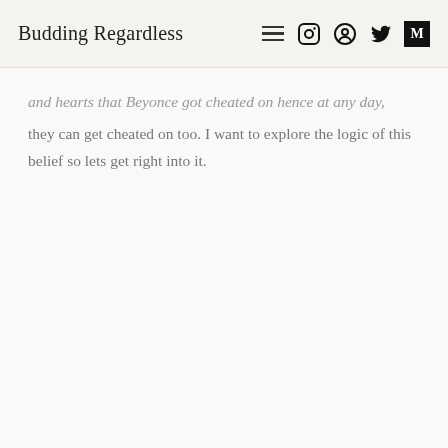Budding Regardless
and hearts that Beyonce got cheated on hence at any day, they can get cheated on too. I want to explore the logic of this belief so lets get right into it.